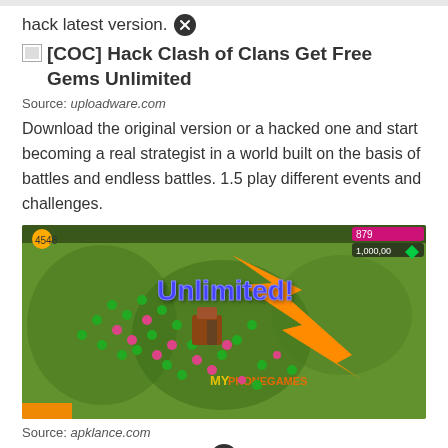hack latest version. ✕
[COC] Hack Clash of Clans Get Free Gems Unlimited
Source: uploadware.com
Download the original version or a hacked one and start becoming a real strategist in a world built on the basis of battles and endless battles. 1.5 play different events and challenges.
[Figure (screenshot): Screenshot of Clash of Clans game with 'Unlimited!' text overlay in blue and a large orange arrow pointing to resources. Watermark reads 'MYPHONEGAMES'. Green battlefield with troops visible.]
Source: apklance.com